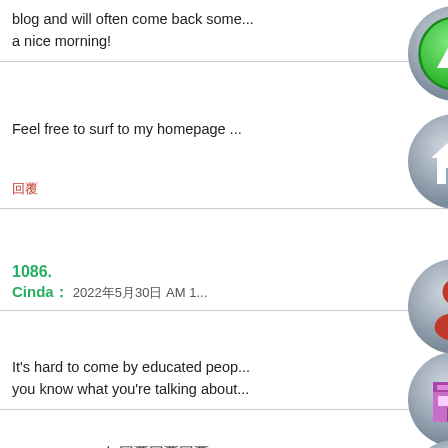blog and will often come back some... a nice morning!
[Figure (illustration): Green circle icon with upward triangle arrow]
Feel free to surf to my homepage ...
[Figure (illustration): Grey circle icon with house symbol]
回覆
1086.
Cinda : 2022年5月30日 AM 1...
[Figure (illustration): Grey circle icon with red person/user silhouette]
It's hard to come by educated peop... you know what you're talking about...
[Figure (illustration): Grey circle icon with purple shop/store building]
my page 2022年回覆回覆回覆
[Figure (illustration): Grey circle icon with yellow star and plus sign]
回覆